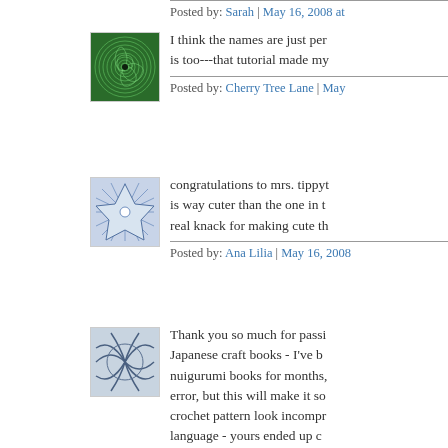I think the names are just per... is too---that tutorial made my...
Posted by: Cherry Tree Lane | May...
congratulations to mrs. tippyt... is way cuter than the one in t... real knack for making cute th...
Posted by: Ana Lilia | May 16, 2008
Thank you so much for passi... Japanese craft books - I've b... nuigurumi books for months,... error, but this will make it so... crochet pattern look incompr... language - yours ended up c... Congratulations to Mrs. Tippy... all!